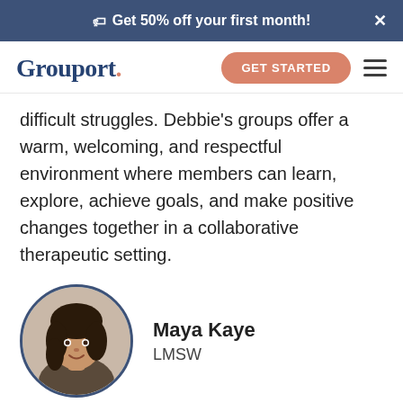🏷 Get 50% off your first month!
Grouport
difficult struggles. Debbie's groups offer a warm, welcoming, and respectful environment where members can learn, explore, achieve goals, and make positive changes together in a collaborative therapeutic setting.
Maya Kaye
LMSW
Maya Kaye is a Licensed Master Social Worker,